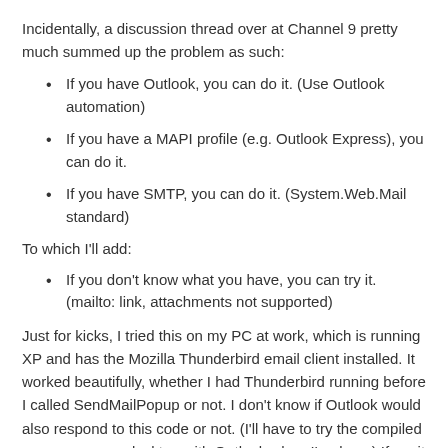Incidentally, a discussion thread over at Channel 9 pretty much summed up the problem as such:
If you have Outlook, you can do it. (Use Outlook automation)
If you have a MAPI profile (e.g. Outlook Express), you can do it.
If you have SMTP, you can do it. (System.Web.Mail standard)
To which I'll add:
If you don't know what you have, you can try it. (mailto: link, attachments not supported)
Just for kicks, I tried this on my PC at work, which is running XP and has the Mozilla Thunderbird email client installed. It worked beautifully, whether I had Thunderbird running before I called SendMailPopup or not. I don't know if Outlook would also respond to this code or not. (I'll have to try the compiled program on my desktop with Outlook when I'm done.) If so, it